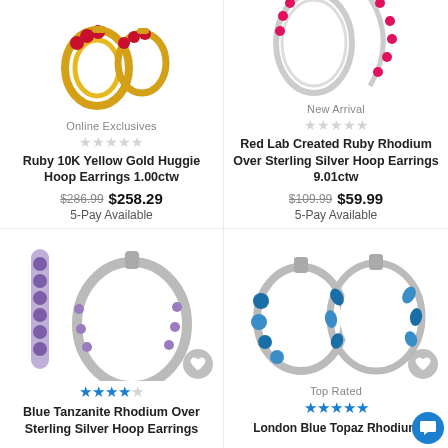[Figure (photo): Ruby 10K Yellow Gold Huggie Hoop Earrings product photo, partial top view]
Online Exclusives
★★★★★ (empty stars)
Ruby 10K Yellow Gold Huggie Hoop Earrings 1.00ctw
$286.99  $258.29
5-Pay Available
[Figure (photo): Red Lab Created Ruby Rhodium Over Sterling Silver Hoop Earrings product photo, partial top view]
New Arrival
★★★★★ (empty stars)
Red Lab Created Ruby Rhodium Over Sterling Silver Hoop Earrings 9.01ctw
$109.99  $59.99
5-Pay Available
[Figure (photo): Blue Tanzanite Rhodium Over Sterling Silver Hoop Earrings product photo]
★★★★☆ (4 stars)
Blue Tanzanite Rhodium Over Sterling Silver Hoop Earrings
[Figure (photo): London Blue Topaz Rhodium product photo]
Top Rated
★★★★★ (5 stars)
London Blue Topaz Rhodium